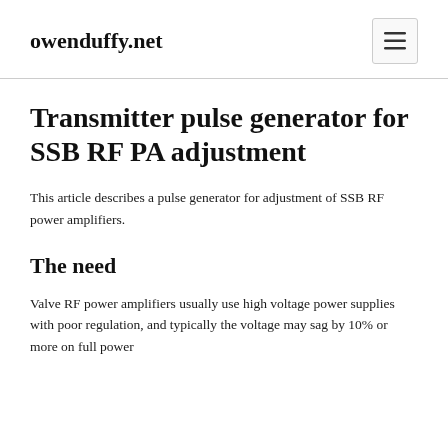owenduffy.net
Transmitter pulse generator for SSB RF PA adjustment
This article describes a pulse generator for adjustment of SSB RF power amplifiers.
The need
Valve RF power amplifiers usually use high voltage power supplies with poor regulation, and typically the voltage may sag by 10% or more on full power